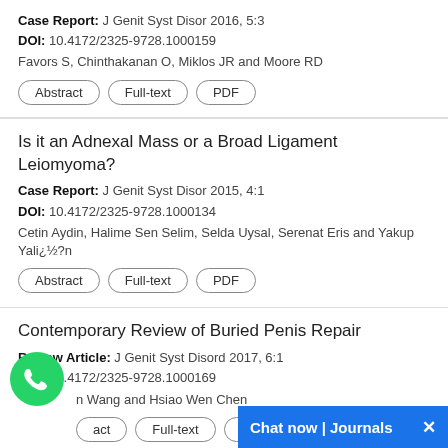Case Report: J Genit Syst Disor 2016, 5:3
DOI: 10.4172/2325-9728.1000159
Favors S, Chinthakanan O, Miklos JR and Moore RD
Abstract | Full-text | PDF
Is it an Adnexal Mass or a Broad Ligament Leiomyoma?
Case Report: J Genit Syst Disor 2015, 4:1
DOI: 10.4172/2325-9728.1000134
Cetin Aydin, Halime Sen Selim, Selda Uysal, Serenat Eris and Yakup Yali¿½?n
Abstract | Full-text | PDF
Contemporary Review of Buried Penis Repair
Review Article: J Genit Syst Disord 2017, 6:1
DOI: 10.4172/2325-9728.1000169
n Wang and Hsiao Wen Chen
Abstract | Full-text | PDF
Successful Twin Pregnanc...